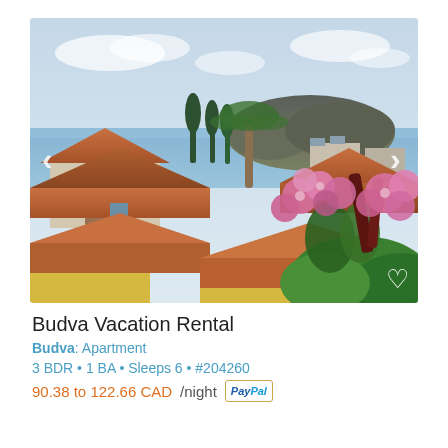[Figure (photo): Aerial view of Budva, Montenegro showing terracotta rooftops, lush greenery, pink flowers in foreground, sea and rocky island in background under partly cloudy sky]
Budva Vacation Rental
Budva: Apartment
3 BDR • 1 BA • Sleeps 6 • #204260
90.38 to 122.66 CAD/night  PayPal